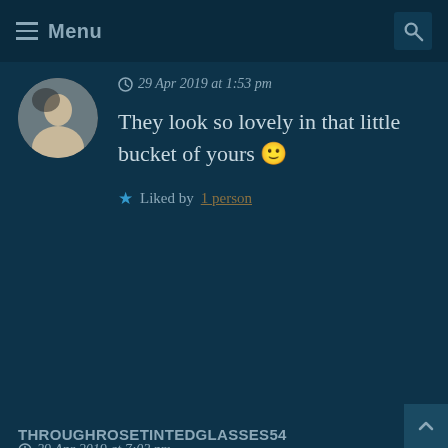Menu
29 Apr 2019 at 1:53 pm
They look so lovely in that little bucket of yours 🙂
Liked by 1 person
Reply
THROUGHROSETINTEDGLASSES54
29 Apr 2019 at 7:02 pm